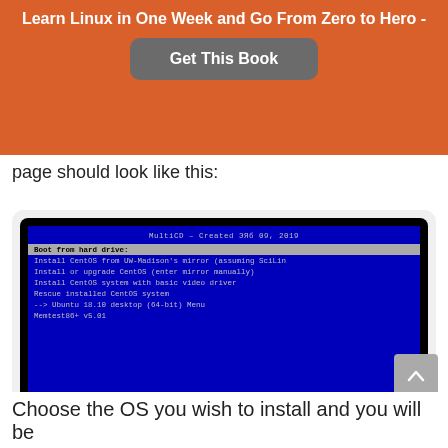Learn Linux in One Week and Go From Zero to Hero -
Get This Book
page should look like this:
[Figure (screenshot): A screenshot of a MultiCD boot menu on a dark screen. Title: MultiCD – Created ЭЯб 09, 2019. Menu items: Boot from hard drive (selected/highlighted), Install CentOS from UW-Madison's mirror (assuming SciLin, Install or upgrade CentOS (enter mirror manually), Install CentOS system with basic video driver, Rescue installed CentOS system, --> Ubuntu 18.10 desktop (64-bit) Menu, Memtest86+ v5.01. Footer text: Press [Tab] to edit options]
Test Multiboot Media
Choose the OS you wish to install and you will be